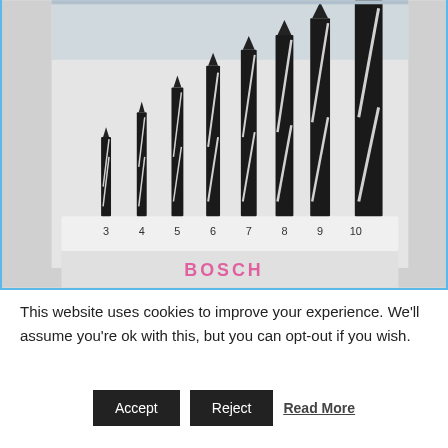[Figure (photo): A set of Bosch drill bits arranged in ascending size order in a plastic holder, numbered 3 through 10, with black and white spiral fluting visible.]
This website uses cookies to improve your experience. We'll assume you're ok with this, but you can opt-out if you wish.
Accept   Reject   Read More